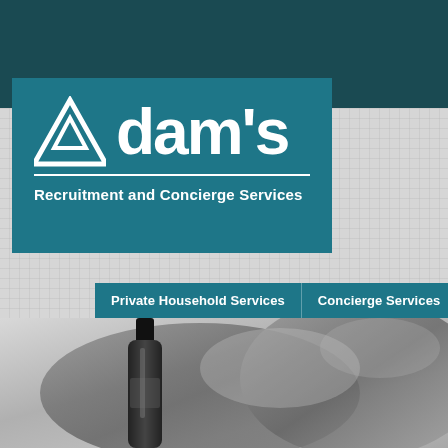[Figure (logo): Adam's Recruitment and Concierge Services logo — teal background with white mountain/triangle icon and large bold text reading "dam's" with subtitle "Recruitment and Concierge Services"]
Private Household Services
Concierge Services
J...
[Figure (photo): Grayscale photo showing hands holding/arranging fabric or cloth, with a dark wine bottle in the foreground left]